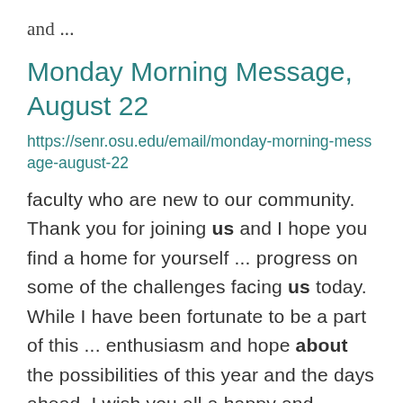and ...
Monday Morning Message, August 22
https://senr.osu.edu/email/monday-morning-message-august-22
faculty who are new to our community. Thank you for joining us and I hope you find a home for yourself ... progress on some of the challenges facing us today. While I have been fortunate to be a part of this ... enthusiasm and hope about the possibilities of this year and the days ahead. I wish you all a happy and ...